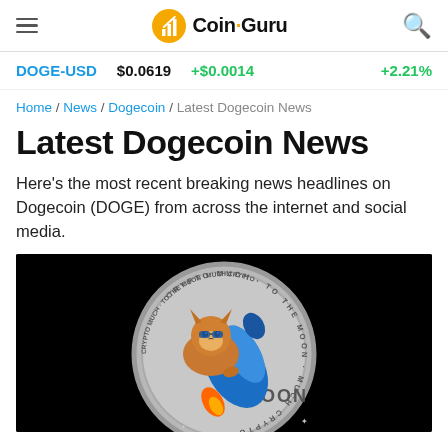Coin Guru
DOGE-USD  $0.0619  +$0.0014  +2.21%
Home / News / Dogecoin / Latest Dogecoin News
Latest Dogecoin News
Here's the most recent breaking news headlines on Dogecoin (DOGE) from across the internet and social media.
[Figure (illustration): Dogecoin promotional image: a Shiba Inu dog riding a rocket labeled MOON, set against a silver coin with text 'CRYPTO MUCH TO THE MOON MUCH CRYPTO', on a black background.]